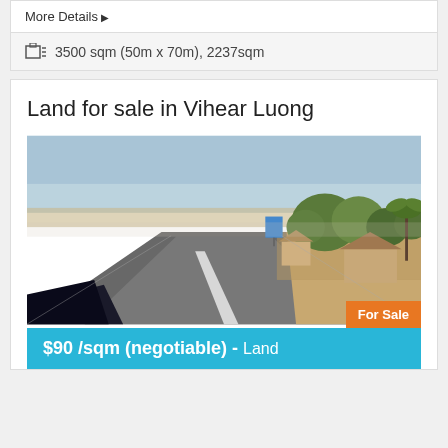More Details ▶
3500 sqm (50m x 70m), 2237sqm
Land for sale in Vihear Luong
[Figure (photo): Street view photo of a road in Vihear Luong with trees and buildings on the right side. Orange 'For Sale' badge in bottom-right corner.]
$90/sqm (negotiable) - Land